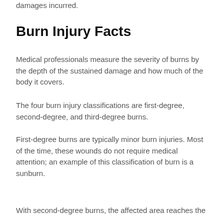damages incurred.
Burn Injury Facts
Medical professionals measure the severity of burns by the depth of the sustained damage and how much of the body it covers.
The four burn injury classifications are first-degree, second-degree, and third-degree burns.
First-degree burns are typically minor burn injuries. Most of the time, these wounds do not require medical attention; an example of this classification of burn is a sunburn.
With second-degree burns, the affected area reaches the